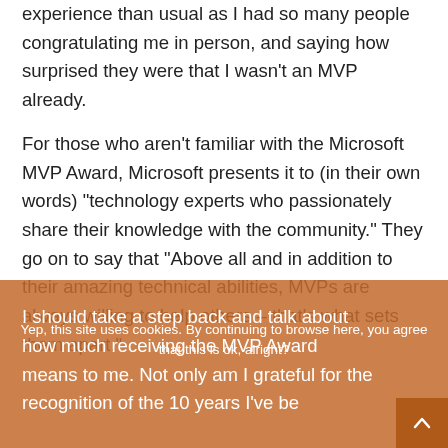experience than usual as I had so many people congratulating me in person, and saying how surprised they were that I wasn't an MVP already.
For those who aren't familiar with the Microsoft MVP Award, Microsoft presents it to (in their own words) "technology experts who passionately share their knowledge with the community." They go on to say that "Above all and in addition to their amazing technical abilities, MVPs are always willing to help others – that's what sets them apart."
I should take a step back and talk about how much receiving the MVP Award means to me. Not only am I grateful for the recognition of the 10 years I've be...
Yep, this site uses cookies. By continuing to browse here, you agree that this is ok, alright?